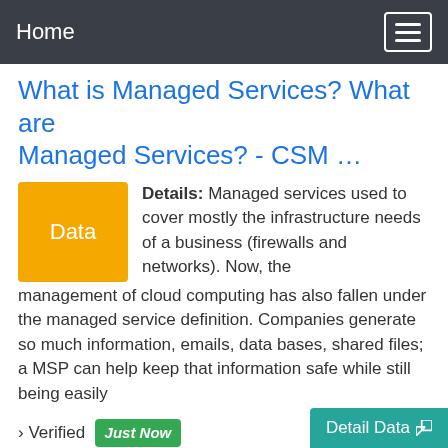Home
What is Managed Services? What are Managed Services? - CSM …
Details: Managed services used to cover mostly the infrastructure needs of a business (firewalls and networks). Now, the management of cloud computing has also fallen under the managed service definition. Companies generate so much information, emails, data bases, shared files; a MSP can help keep that information safe while still being easily
› Verified  Just Now
› Url: Csm-corp.com  View Details
› Get more:  Services,  Companies,  Business
Detail Data